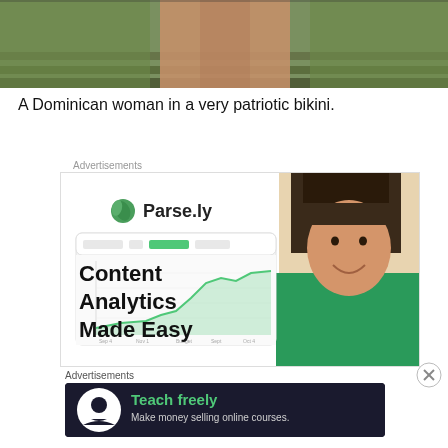[Figure (photo): Partial view of a woman standing outdoors near steps, showing lower torso and legs, with grass and steps in background]
A Dominican woman in a very patriotic bikini.
Advertisements
[Figure (screenshot): Parse.ly advertisement showing logo with green leaf icon and Parse.ly text, a screenshot of analytics dashboard with a line chart, and a smiling woman in green top. Text reads: Content Analytics Made Easy]
Advertisements
[Figure (screenshot): Teachable advertisement on dark background with white circular logo icon, green text 'Teach freely' and grey subtext 'Make money selling online courses.']